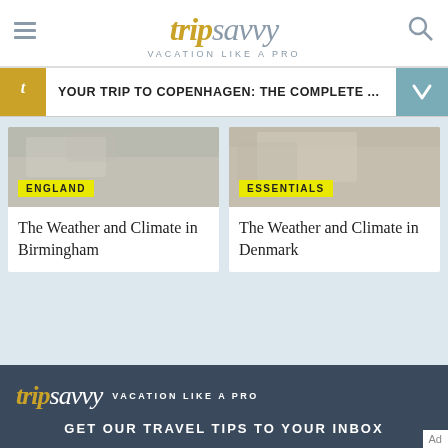tripsavvy VACATION LIKE A PRO
YOUR TRIP TO COPENHAGEN: THE COMPLETE ...
[Figure (photo): England travel photo - Birmingham weather article card]
ENGLAND
The Weather and Climate in Birmingham
[Figure (photo): Essentials travel photo - Denmark weather article card]
ESSENTIALS
The Weather and Climate in Denmark
tripsavvy VACATION LIKE A PRO   GET OUR TRAVEL TIPS TO YOUR INBOX